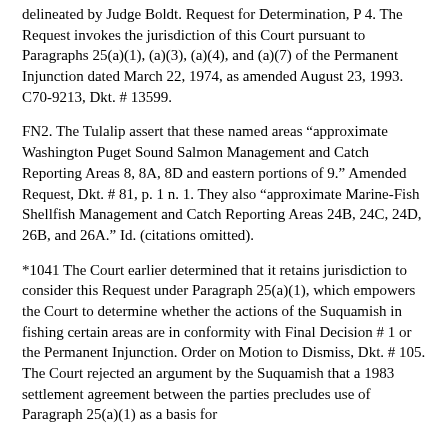delineated by Judge Boldt. Request for Determination, P 4. The Request invokes the jurisdiction of this Court pursuant to Paragraphs 25(a)(1), (a)(3), (a)(4), and (a)(7) of the Permanent Injunction dated March 22, 1974, as amended August 23, 1993. C70-9213, Dkt. # 13599.
FN2. The Tulalip assert that these named areas "approximate Washington Puget Sound Salmon Management and Catch Reporting Areas 8, 8A, 8D and eastern portions of 9." Amended Request, Dkt. # 81, p. 1 n. 1. They also "approximate Marine-Fish Shellfish Management and Catch Reporting Areas 24B, 24C, 24D, 26B, and 26A." Id. (citations omitted).
*1041 The Court earlier determined that it retains jurisdiction to consider this Request under Paragraph 25(a)(1), which empowers the Court to determine whether the actions of the Suquamish in fishing certain areas are in conformity with Final Decision # 1 or the Permanent Injunction. Order on Motion to Dismiss, Dkt. # 105. The Court rejected an argument by the Suquamish that a 1983 settlement agreement between the parties precludes use of Paragraph 25(a)(1) as a basis for